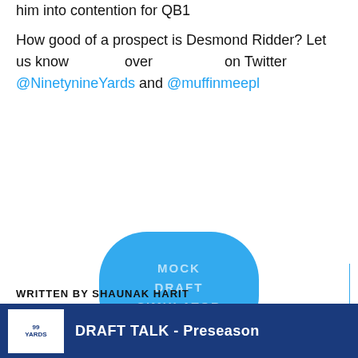him into contention for QB1

How good of a prospect is Desmond Ridder? Let us know over on Twitter @NinetynineYards and @muffinmeepl
[Figure (other): Blue rounded rectangle button with text MOCK DRAFT SIMULATOR]
BACK TO TOP
WRITTEN BY SHAUNAK HARIT
DRAFT TALK - Preseason